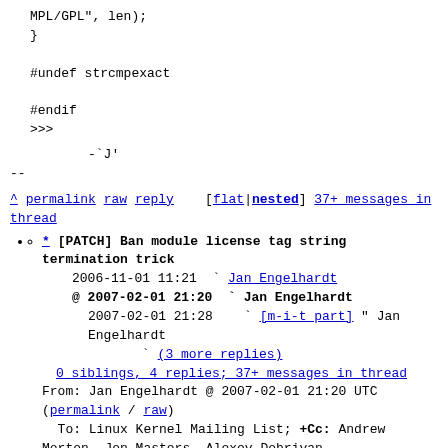MPL/GPL", len);
}

#undef strcmpexact

#endif
>>>
-`J'
--
^ permalink raw reply   [flat|nested] 37+ messages in thread
* [PATCH] Ban module license tag string termination trick
2006-11-01 11:21  ` Jan Engelhardt
@ 2007-02-01 21:20  ` Jan Engelhardt
  2007-02-01 21:28    ` [m-i-t part] " Jan Engelhardt
                      ` (3 more replies)
  0 siblings, 4 replies; 37+ messages in thread
From: Jan Engelhardt @ 2007-02-01 21:20 UTC
(permalink / raw)
To: Linux Kernel Mailing List; +Cc: Andrew Morton, Jon Masters, Alexey Dobriyan